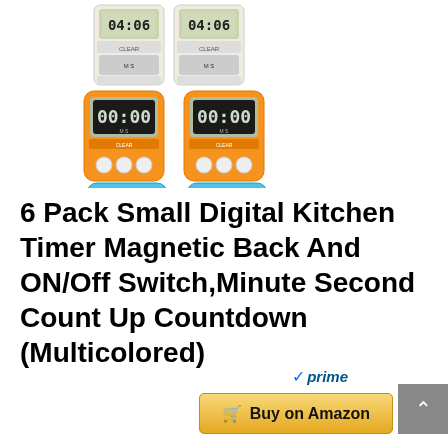[Figure (photo): Six digital kitchen timers in two columns of three rows. Top row: two white/beige timers showing 04:06. Middle row: two orange timers showing 00:00. Bottom row: two blue/teal timers showing 00:00. All timers have digital displays and buttons.]
6 Pack Small Digital Kitchen Timer Magnetic Back And ON/Off Switch,Minute Second Count Up Countdown (Multicolored)